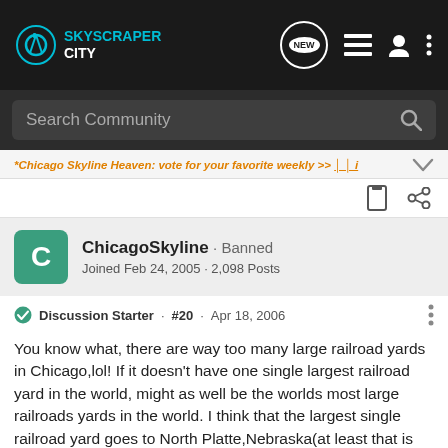[Figure (screenshot): SkyscraperCity forum website top navigation bar with logo, search bar, and icons]
*Chicago Skyline Heaven: vote for your favorite weekly >> [icons]
ChicagoSkyline · Banned
Joined Feb 24, 2005 · 2,098 Posts
Discussion Starter · #20 · Apr 18, 2006
You know what, there are way too many large railroad yards in Chicago,lol! If it doesn't have one single largest railroad yard in the world, might as well be the worlds most large railroads yards in the world. I think that the largest single railroad yard goes to North Platte,Nebraska(at least that is what Wikipedia said)